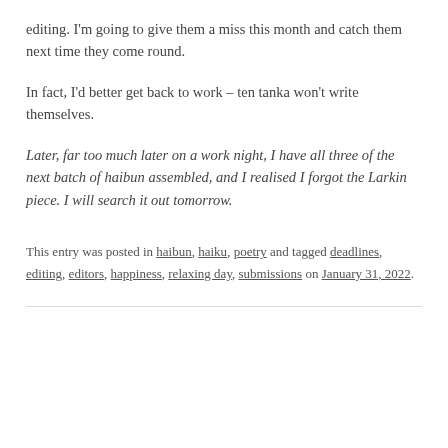editing. I'm going to give them a miss this month and catch them next time they come round.
In fact, I'd better get back to work – ten tanka won't write themselves.
Later, far too much later on a work night, I have all three of the next batch of haibun assembled, and I realised I forgot the Larkin piece. I will search it out tomorrow.
This entry was posted in haibun, haiku, poetry and tagged deadlines, editing, editors, happiness, relaxing day, submissions on January 31, 2022.